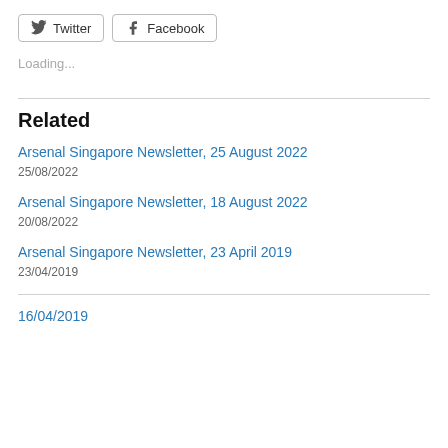Twitter  Facebook
Loading...
Related
Arsenal Singapore Newsletter, 25 August 2022
25/08/2022
Arsenal Singapore Newsletter, 18 August 2022
20/08/2022
Arsenal Singapore Newsletter, 23 April 2019
23/04/2019
16/04/2019